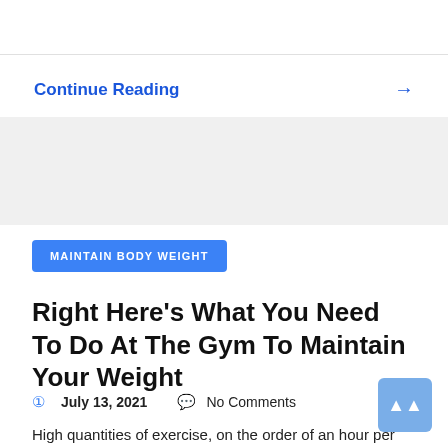Continue Reading →
[Figure (other): Gray advertisement block]
MAINTAIN BODY WEIGHT
Right Here's What You Need To Do At The Gym To Maintain Your Weight
July 13, 2021   No Comments
High quantities of exercise, on the order of an hour per day, are additionally helpful. This quantity of